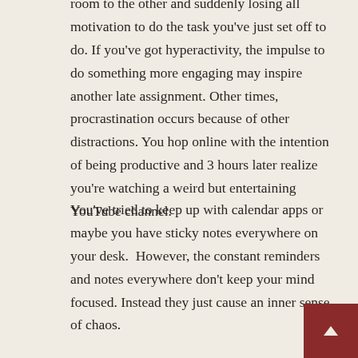room to the other and suddenly losing all motivation to do the task you've just set off to do. If you've got hyperactivity, the impulse to do something more engaging may inspire another late assignment. Other times, procrastination occurs because of other distractions. You hop online with the intention of being productive and 3 hours later realize you're watching a weird but entertaining YouTube channel.
You've tried to keep up with calendar apps or maybe you have sticky notes everywhere on your desk.  However, the constant reminders and notes everywhere don't keep your mind focused. Instead they just cause an inner sense of chaos.